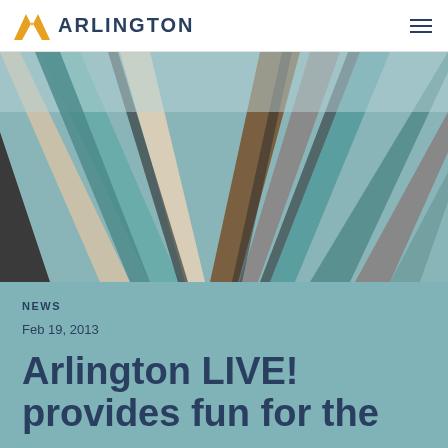ARLINGTON
[Figure (photo): Close-up photo of colorful wooden planks/slats fanning outward in teal, white, brown, and grey tones, viewed from below.]
NEWS
Feb 19, 2013
Arlington LIVE! provides fun for the